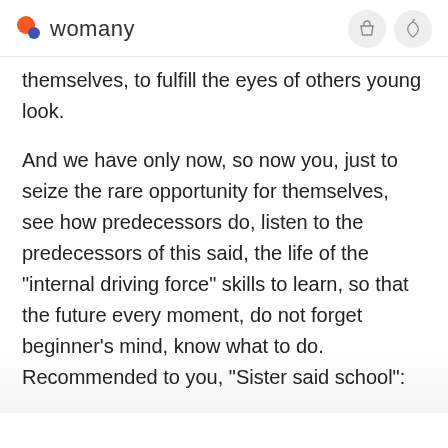womany
themselves, to fulfill the eyes of others young look.
And we have only now, so now you, just to seize the rare opportunity for themselves, see how predecessors do, listen to the predecessors of this said, the life of the "internal driving force" skills to learn, so that the future every moment, do not forget beginner's mind, know what to do. Recommended to you, "Sister said school":